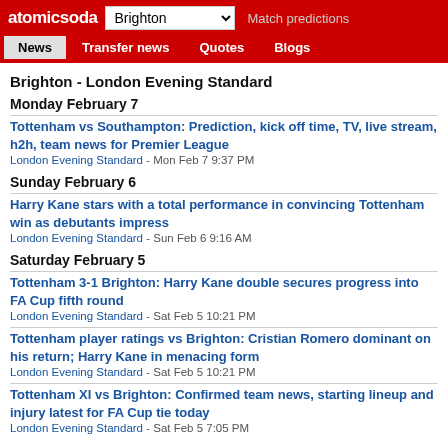atomicsoda Brighton Match predictions
News Transfer news Quotes Blogs
Brighton - London Evening Standard
Monday February 7
Tottenham vs Southampton: Prediction, kick off time, TV, live stream, h2h, team news for Premier League
London Evening Standard - Mon Feb 7 9:37 PM
Sunday February 6
Harry Kane stars with a total performance in convincing Tottenham win as debutants impress
London Evening Standard - Sun Feb 6 9:16 AM
Saturday February 5
Tottenham 3-1 Brighton: Harry Kane double secures progress into FA Cup fifth round
London Evening Standard - Sat Feb 5 10:21 PM
Tottenham player ratings vs Brighton: Cristian Romero dominant on his return; Harry Kane in menacing form
London Evening Standard - Sat Feb 5 10:21 PM
Tottenham XI vs Brighton: Confirmed team news, starting lineup and injury latest for FA Cup tie today
London Evening Standard - Sat Feb 5 7:05 PM